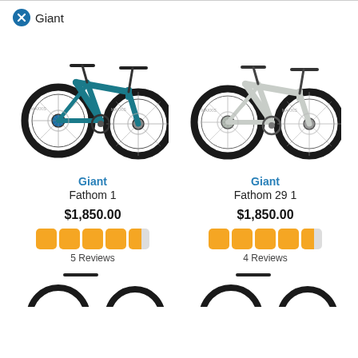Giant (filter tag)
[Figure (photo): Giant Fathom 1 mountain bike in teal/blue color, side view showing full suspension hardtail with chunky tires]
[Figure (photo): Giant Fathom 29 1 mountain bike in light gray/beige color, side view showing full suspension hardtail with chunky tires]
Giant
Fathom 1
$1,850.00
5 Reviews
Giant
Fathom 29 1
$1,850.00
4 Reviews
[Figure (photo): Partial view of bike handlebars and front wheel at bottom of page, left side]
[Figure (photo): Partial view of bike handlebars and front wheel at bottom of page, right side]